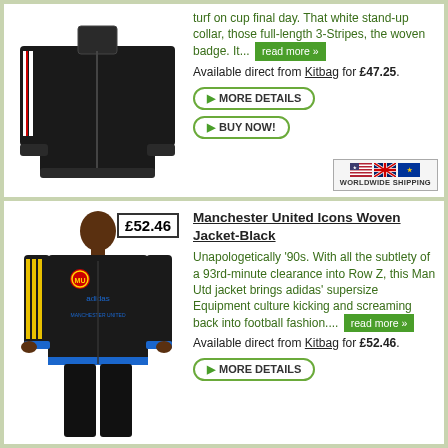[Figure (photo): Black Manchester United track jacket with white and red stripes on sleeves]
turf on cup final day. That white stand-up collar, those full-length 3-Stripes, the woven badge. It...
read more »
Available direct from Kitbag for £47.25.
MORE DETAILS
BUY NOW!
[Figure (photo): Worldwide shipping badge with US, UK and EU flags]
[Figure (photo): Black Manchester United Icons Woven Jacket with yellow stripes and Man Utd badge, worn by a model]
Manchester United Icons Woven Jacket-Black
Unapologetically '90s. With all the subtlety of a 93rd-minute clearance into Row Z, this Man Utd jacket brings adidas' supersize Equipment culture kicking and screaming back into football fashion....
read more »
Available direct from Kitbag for £52.46.
MORE DETAILS